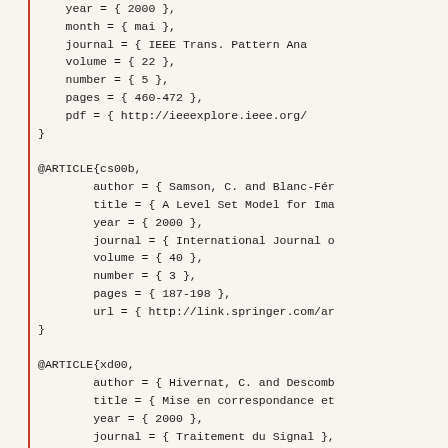BibTeX bibliography entries showing @ARTICLE records for cs00b, xd00, and xd00a